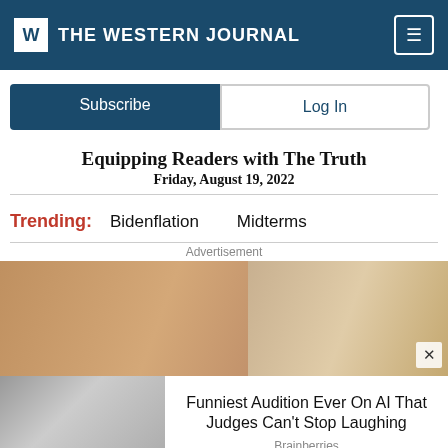W THE WESTERN JOURNAL
Subscribe   Log In
Equipping Readers with The Truth
Friday, August 19, 2022
Trending:  Bidenflation  Midterms
Advertisement
[Figure (photo): Close-up of two people's faces, a man and a woman]
[Figure (photo): Woman laughing with hand over face]
Funniest Audition Ever On AI That Judges Can't Stop Laughing
Brainberries